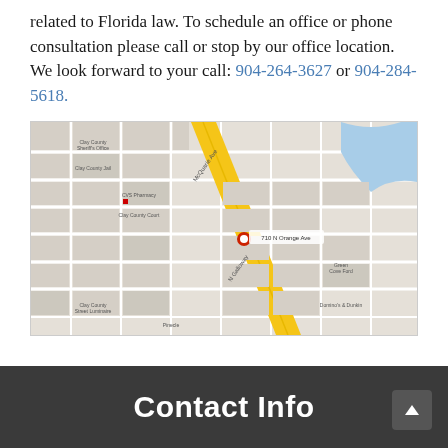related to Florida law. To schedule an office or phone consultation please call or stop by our office location. We look forward to your call: 904-264-3627 or 904-284-5618.
[Figure (map): Google Maps screenshot showing a street map centered on 710 N Orange Ave, Green Cove Springs, FL area. A yellow diagonal road (Highway 17) runs through the center. A red pin marker is placed at the office location. Various streets, Clay County Court, CVS Pharmacy, and other landmarks are visible.]
Contact Info